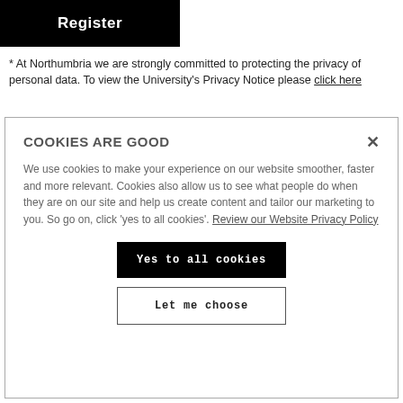[Figure (other): Black button with white bold text 'Register']
* At Northumbria we are strongly committed to protecting the privacy of personal data. To view the University's Privacy Notice please click here
COOKIES ARE GOOD
We use cookies to make your experience on our website smoother, faster and more relevant. Cookies also allow us to see what people do when they are on our site and help us create content and tailor our marketing to you. So go on, click 'yes to all cookies'. Review our Website Privacy Policy
[Figure (other): Black button with white text 'Yes to all cookies']
[Figure (other): White button with black text 'Let me choose']